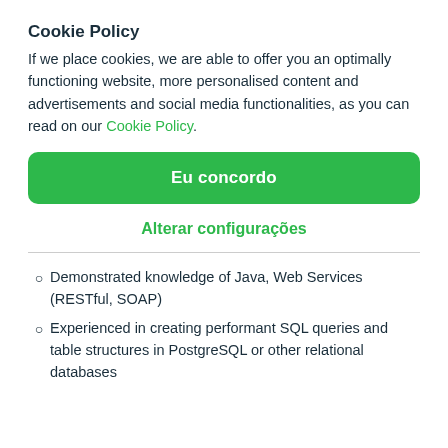Cookie Policy
If we place cookies, we are able to offer you an optimally functioning website, more personalised content and advertisements and social media functionalities, as you can read on our Cookie Policy.
Eu concordo
Alterar configurações
Demonstrated knowledge of Java, Web Services (RESTful, SOAP)
Experienced in creating performant SQL queries and table structures in PostgreSQL or other relational databases